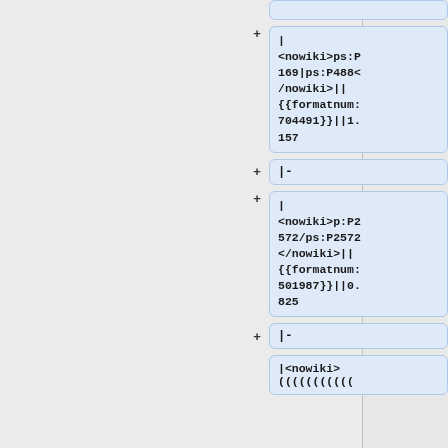| <nowiki>ps:P169|ps:P488</nowiki>||{{formatnum:704491}}||1.157
|-
| <nowiki>p:P2572/ps:P2572</nowiki>||{{formatnum:501987}}||0.825
|-
|<nowiki>((((((((((